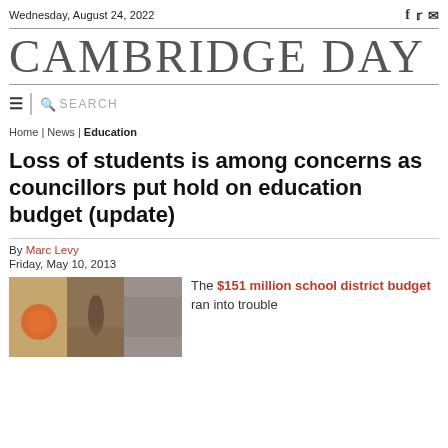Wednesday, August 24, 2022
CAMBRIDGE DAY
Home | News | Education
Loss of students is among concerns as councillors put hold on education budget (update)
By Marc Levy
Friday, May 10, 2013
The $151 million school district budget ran into trouble